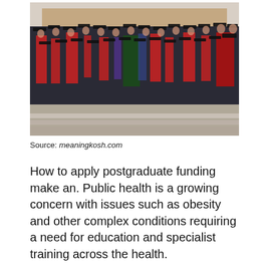[Figure (photo): Group photo of postgraduate students in academic graduation gowns and caps on steps of a university building]
Source: meaningkosh.com
How to apply postgraduate funding make an. Public health is a growing concern with issues such as obesity and other complex conditions requiring a need for education and specialist training across the health.